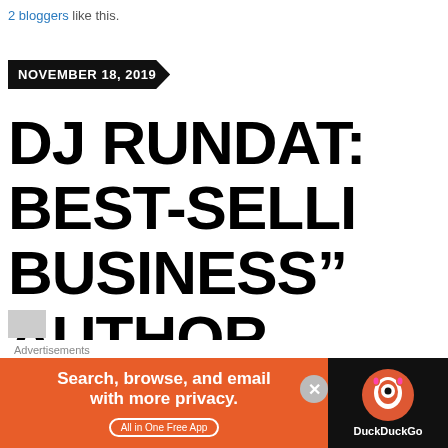2 bloggers like this.
NOVEMBER 18, 2019
DJ RUNDAT: BEST-SELLING "BUSINESS" AUTHOR
[Figure (other): Small grey avatar/profile image placeholder]
by kahlil wonda Fashion, Interviews, News, Afrobeat, Cali roots, dancehall, DJ business, the river, Sierra Nevada World Music Festival
BOSS MAMA MICHELLE MILLER AKA DJ...
Advertisements
[Figure (screenshot): DuckDuckGo advertisement banner: 'Search, browse, and email with more privacy. All in One Free App' with DuckDuckGo logo on dark background]